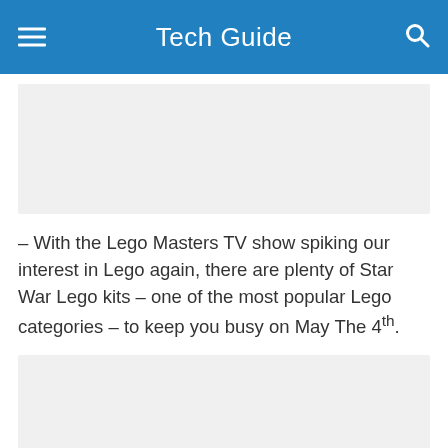Tech Guide
[Figure (other): Advertisement placeholder box (top)]
– With the Lego Masters TV show spiking our interest in Lego again, there are plenty of Star War Lego kits – one of the most popular Lego categories – to keep you busy on May The 4th.
[Figure (other): Advertisement placeholder box (bottom)]